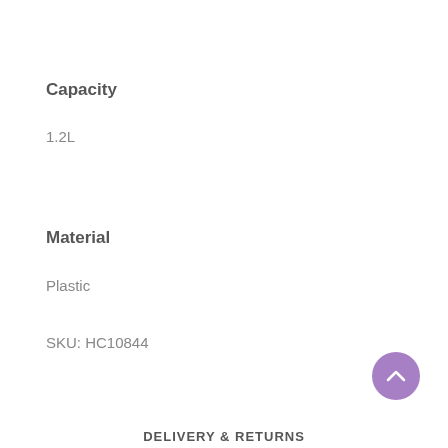Capacity
1.2L
Material
Plastic
SKU: HC10844
[Figure (other): Purple circular back-to-top button with upward chevron arrow]
DELIVERY & RETURNS